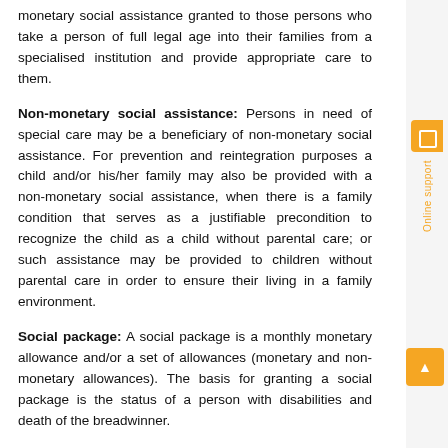monetary social assistance granted to those persons who take a person of full legal age into their families from a specialised institution and provide appropriate care to them.
Non-monetary social assistance: Persons in need of special care may be a beneficiary of non-monetary social assistance. For prevention and reintegration purposes a child and/or his/her family may also be provided with a non-monetary social assistance, when there is a family condition that serves as a justifiable precondition to recognize the child as a child without parental care; or such assistance may be provided to children without parental care in order to ensure their living in a family environment.
Social package: A social package is a monthly monetary allowance and/or a set of allowances (monetary and non-monetary allowances). The basis for granting a social package is the status of a person with disabilities and death of the breadwinner.
In case of satisfaction of above mentioned criteria on cases of social assistance the free legal aid is provided in